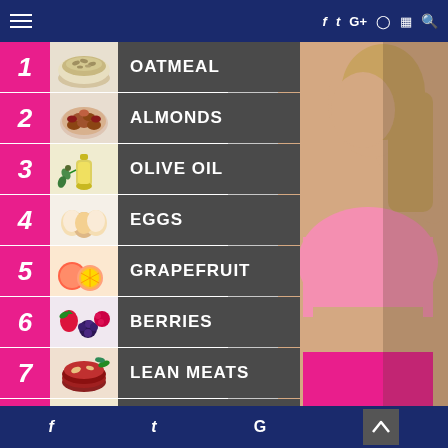Navigation header with social icons: f, t, G+, pinterest, instagram, search
1 OATMEAL
2 ALMONDS
3 OLIVE OIL
4 EGGS
5 GRAPEFRUIT
6 BERRIES
7 LEAN MEATS
8 WHOLE GRAINS (partial)
[Figure (photo): Fitness woman in pink sports bra and pink shorts posing on the right side of the image]
f  t  G  (back to top arrow)